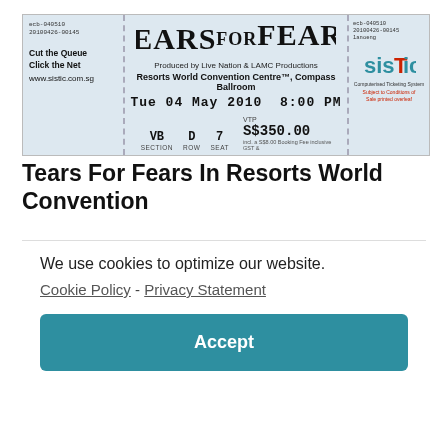[Figure (photo): A concert ticket for Tears For Fears at Resorts World Convention Centre, Compass Ballroom, Tue 04 May 2010 8:00 PM. VIP price S$350.00. Section VB, Row D, Seat 7. Produced by Live Nation & LAMC Productions. Ticketed by SISTIC.]
Tears For Fears In Resorts World Convention
We use cookies to optimize our website.
Cookie Policy - Privacy Statement
Accept